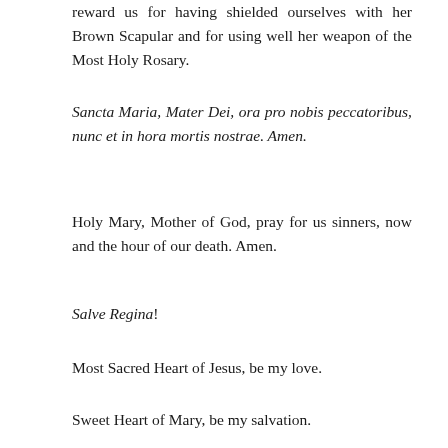reward us for having shielded ourselves with her Brown Scapular and for using well her weapon of the Most Holy Rosary.
Sancta Maria, Mater Dei, ora pro nobis peccatoribus, nunc et in hora mortis nostrae. Amen.
Holy Mary, Mother of God, pray for us sinners, now and the hour of our death. Amen.
Salve Regina!
Most Sacred Heart of Jesus, be my love.
Sweet Heart of Mary, be my salvation.